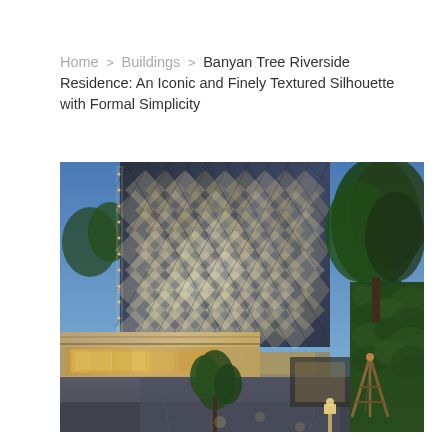Home > Buildings > Banyan Tree Riverside Residence: An Iconic and Finely Textured Silhouette with Formal Simplicity
[Figure (photo): Exterior architectural photograph of Banyan Tree Riverside Residence building at dusk/twilight. The tower features a distinctive diamond/rhombus patterned glass facade with interior lighting creating a geometric texture. The lower podium level shows a warm-lit entrance/lobby area with landscaped entrance path. Trees are visible on the right side of the image, and a wooden tripod structure is visible in the foreground right. The sky is a deep blue twilight color.]